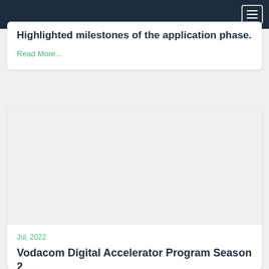Highlighted milestones of the application phase.
Read More...
Jul, 2022
Vodacom Digital Accelerator Program Season 2